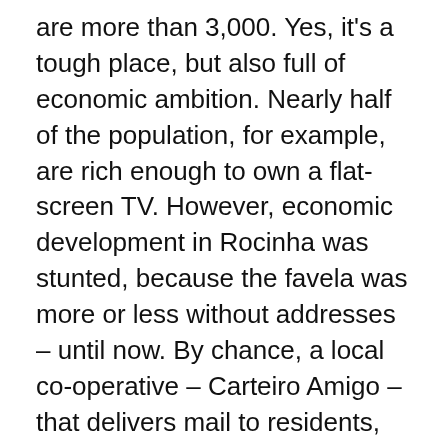are more than 3,000. Yes, it's a tough place, but also full of economic ambition. Nearly half of the population, for example, are rich enough to own a flat-screen TV. However, economic development in Rocinha was stunted, because the favela was more or less without addresses – until now. By chance, a local co-operative – Carteiro Amigo – that delivers mail to residents, discovered the addressing solution developed by us at what3words.
We divided the world into 57 trillion squares, each three metres by three metres, and every square has a unique three word identifier, for example type.heat.sketch. It currently works in nine languages – from English to Swahili – and we are about to add another three.
To have an address, you don't need to remember a long and complex alphanumeric combination, but just